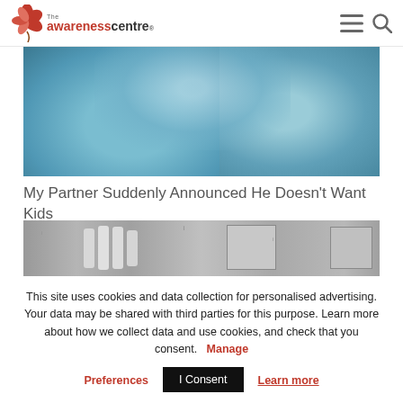The Awareness Centre
[Figure (photo): Person wearing a blue fuzzy sweater, upper body, photo cut off at torso level]
My Partner Suddenly Announced He Doesn't Want Kids
[Figure (photo): Black and white photo of a hand pressed against a rain-covered glass window with buildings in the background]
This site uses cookies and data collection for personalised advertising. Your data may be shared with third parties for this purpose. Learn more about how we collect data and use cookies, and check that you consent.   Manage
Preferences
I Consent
Learn more